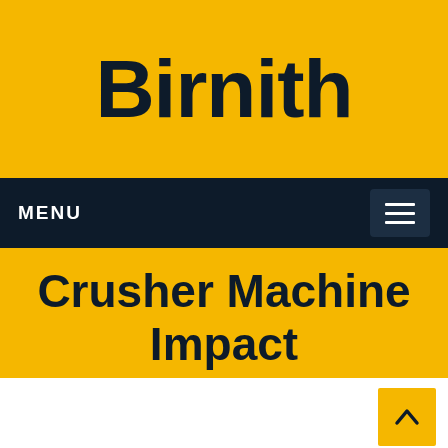Birnith
MENU
Crusher Machine Impact
Home / Products